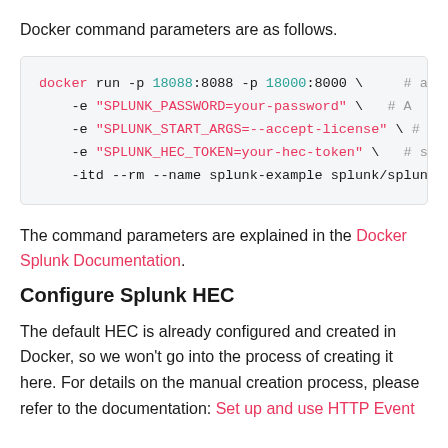Docker command parameters are as follows.
[Figure (screenshot): Code block showing a docker run command with port mappings, environment variables for SPLUNK_PASSWORD, SPLUNK_START_ARGS, SPLUNK_HEC_TOKEN, and container options --itd --rm --name splunk-example splunk/splunk]
The command parameters are explained in the Docker Splunk Documentation.
Configure Splunk HEC
The default HEC is already configured and created in Docker, so we won't go into the process of creating it here. For details on the manual creation process, please refer to the documentation: Set up and use HTTP Event